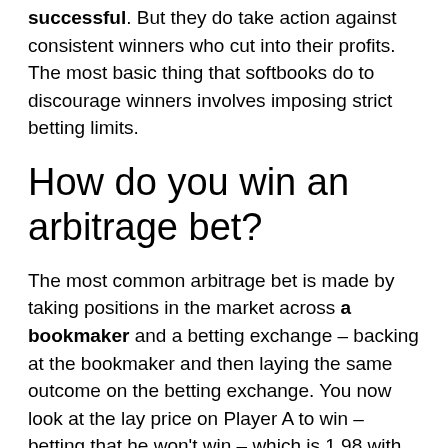successful. But they do take action against consistent winners who cut into their profits. The most basic thing that softbooks do to discourage winners involves imposing strict betting limits.
How do you win an arbitrage bet?
The most common arbitrage bet is made by taking positions in the market across a bookmaker and a betting exchange – backing at the bookmaker and then laying the same outcome on the betting exchange. You now look at the lay price on Player A to win – betting that he won't win – which is 1.98 with the Smarkets exchange.